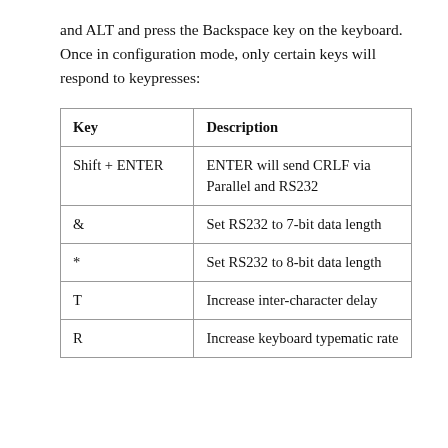and ALT and press the Backspace key on the keyboard.  Once in configuration mode, only certain keys will respond to keypresses:
| Key | Description |
| --- | --- |
| Shift + ENTER | ENTER will send CRLF via Parallel and RS232 |
| & | Set RS232 to 7-bit data length |
| * | Set RS232 to 8-bit data length |
| T | Increase inter-character delay |
| R | Increase keyboard typematic rate |